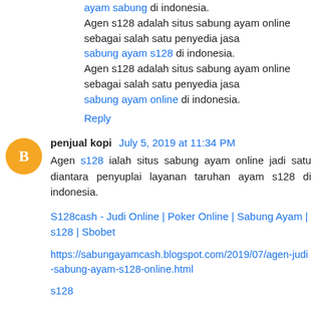ayam sabung di indonesia.
Agen s128 adalah situs sabung ayam online sebagai salah satu penyedia jasa
sabung ayam s128 di indonesia.
Agen s128 adalah situs sabung ayam online sebagai salah satu penyedia jasa
sabung ayam online di indonesia.
Reply
penjual kopi  July 5, 2019 at 11:34 PM
Agen s128 ialah situs sabung ayam online jadi satu diantara penyuplai layanan taruhan ayam s128 di indonesia.
S128cash - Judi Online | Poker Online | Sabung Ayam | s128 | Sbobet
https://sabungayamcash.blogspot.com/2019/07/agen-judi-sabung-ayam-s128-online.html
s128